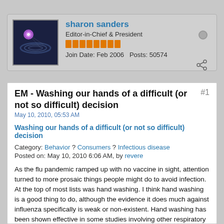sharon sanders | Editor-in-Chief & President | Join Date: Feb 2006 | Posts: 50574
EM - Washing our hands of a difficult (or not so difficult) decision
May 10, 2010, 05:53 AM
Washing our hands of a difficult (or not so difficult) decision
Category: Behavior ? Consumers ? Infectious disease
Posted on: May 10, 2010 6:06 AM, by revere
As the flu pandemic ramped up with no vaccine in sight, attention turned to more prosaic things people might do to avoid infection. At the top of most lists was hand washing. I think hand washing is a good thing to do, although the evidence it does much against influenza specifically is weak or non-existent. Hand washing has been shown effective in some studies involving other respiratory viruses and intestinal pathogens, so even it doesn't work for flu you gain something. And now it appears there are other effects of hand washing. Long a metaphor for having done with something, new research suggests it may be more than a metaphor: